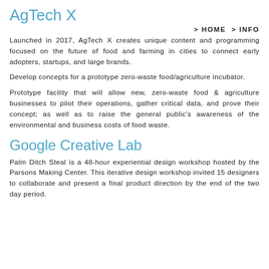AgTech X
> HOME > INFO
Launched in 2017, AgTech X creates unique content and programming focused on the future of food and farming in cities to connect early adopters, startups, and large brands.
Develop concepts for a prototype zero-waste food/agriculture incubator.
Prototype facility that will allow new, zero-waste food & agriculture businesses to pilot their operations, gather critical data, and prove their concept; as well as to raise the general public's awareness of the environmental and business costs of food waste.
Google Creative Lab
Palm Ditch Steal is a 48-hour experiential design workshop hosted by the Parsons Making Center. This iterative design workshop invited 15 designers to collaborate and present a final product direction by the end of the two day period.